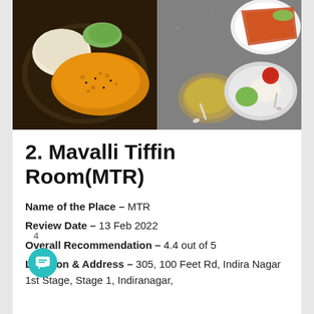[Figure (photo): Two food photos side by side: left shows a thali plate with idli/rava items and yellow dal/upma; right shows South Indian breakfast items including dosa, idli, chutney, and sambar viewed from above.]
2. Mavalli Tiffin Room(MTR)
Name of the Place – MTR
Review Date – 13 Feb 2022
Overall Recommendation – 4.4 out of 5
Location & Address – 305, 100 Feet Rd, Indira Nagar 1st Stage, Stage 1, Indiranagar,